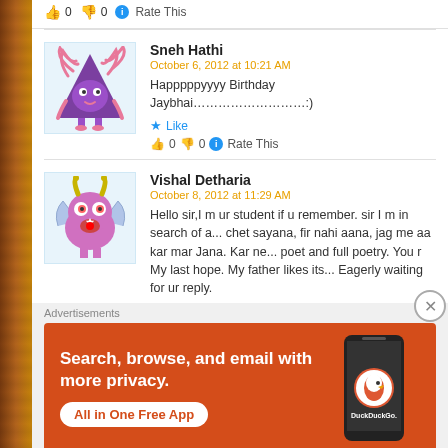👍 0 👎 0 ℹ Rate This
Sneh Hathi
October 6, 2012 at 10:21 AM
Happpppyyyy Birthday Jaybhai…………………………:)
★ Like
👍 0 👎 0 ℹ Rate This
Vishal Detharia
October 8, 2012 at 11:29 AM
Hello sir,I m ur student if u remember. sir I m in search of a... chet sayana, fir nahi aana, jag me aa kar mar Jana. Kar ne... poet and full poetry. You r My last hope. My father likes its... Eagerly waiting for ur reply.
Advertisements
[Figure (infographic): DuckDuckGo advertisement banner: orange background with text 'Search, browse, and email with more privacy. All in One Free App' and a phone image with DuckDuckGo logo]